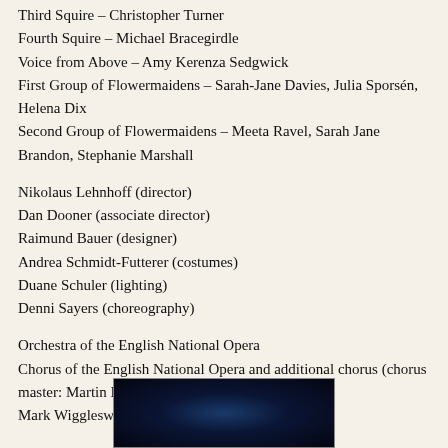Fourth Squire – Michael Bracegirdle
Voice from Above – Amy Kerenza Sedgwick
First Group of Flowermaidens – Sarah-Jane Davies, Julia Sporsén, Helena Dix
Second Group of Flowermaidens – Meeta Ravel, Sarah Jane Brandon, Stephanie Marshall
Nikolaus Lehnhoff (director)
Dan Dooner (associate director)
Raimund Bauer (designer)
Andrea Schmidt-Futterer (costumes)
Duane Schuler (lighting)
Denni Sayers (choreography)
Orchestra of the English National Opera
Chorus of the English National Opera and additional chorus (chorus master: Martin Merry)
Mark Wigglesworth (conductor)
[Figure (photo): Dark blue-toned stage photo, partially visible at bottom of page]